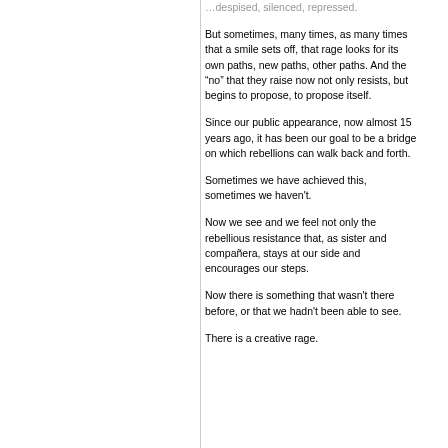…despised, silenced, repressed.
But sometimes, many times, as many times that a smile sets off, that rage looks for its own paths, new paths, other paths. And the “no” that they raise now not only resists, but begins to propose, to propose itself.
Since our public appearance, now almost 15 years ago, it has been our goal to be a bridge on which rebellions can walk back and forth.
Sometimes we have achieved this, sometimes we haven't.
Now we see and we feel not only the rebellious resistance that, as sister and compañera, stays at our side and encourages our steps.
Now there is something that wasn't there before, or that we hadn't been able to see.
There is a creative rage.